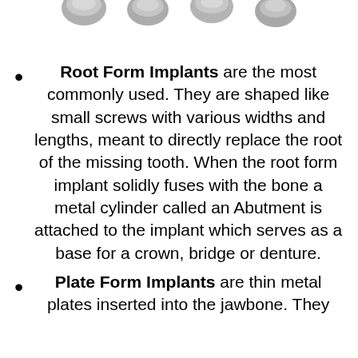[Figure (photo): Partial view of several dental implant screws arranged in a row, showing the tops of the implants, cropped at the top of the page.]
Root Form Implants are the most commonly used. They are shaped like small screws with various widths and lengths, meant to directly replace the root of the missing tooth. When the root form implant solidly fuses with the bone a metal cylinder called an Abutment is attached to the implant which serves as a base for a crown, bridge or denture.
Plate Form Implants are thin metal plates inserted into the jawbone. They